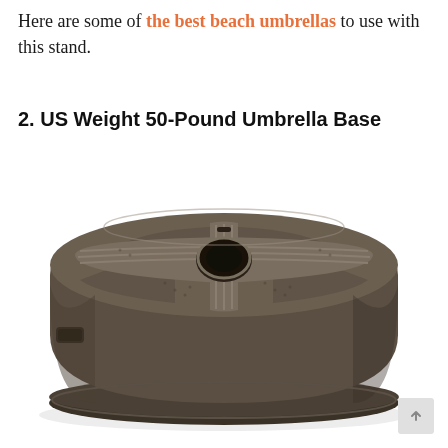Here are some of the best beach umbrellas to use with this stand.
2. US Weight 50-Pound Umbrella Base
[Figure (photo): A dark bronze/brown colored heavy-duty round umbrella base with cross-shaped ridges on top, a center hole for umbrella pole insertion, textured surface panels between the ridges, a rectangular handle cutout on the left side, and a slightly flared base ring at the bottom.]